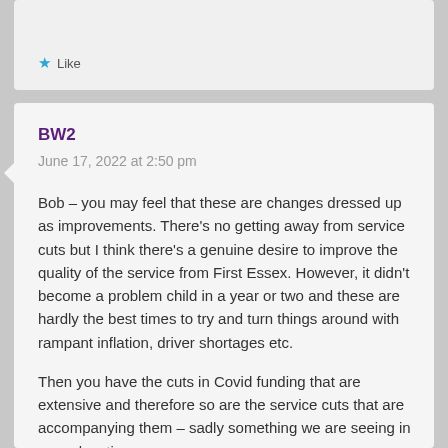Like
BW2
June 17, 2022 at 2:50 pm
Bob – you may feel that these are changes dressed up as improvements. There's no getting away from service cuts but I think there's a genuine desire to improve the quality of the service from First Essex. However, it didn't become a problem child in a year or two and these are hardly the best times to try and turn things around with rampant inflation, driver shortages etc.
Then you have the cuts in Covid funding that are extensive and therefore so are the service cuts that are accompanying them – sadly something we are seeing in many locations